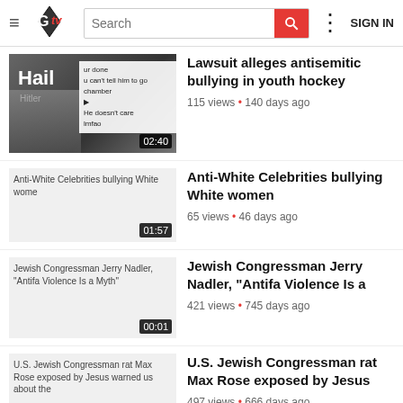[Figure (screenshot): GTV website header with logo, search bar, and SIGN IN button]
[Figure (screenshot): Video thumbnail showing Hail Hitler text and chat overlay, duration 02:40]
Lawsuit alleges antisemitic bullying in youth hockey
115 views • 140 days ago
[Figure (screenshot): Broken image thumbnail for Anti-White Celebrities bullying White women video, duration 01:57]
Anti-White Celebrities bullying White women
65 views • 46 days ago
[Figure (screenshot): Broken image thumbnail for Jewish Congressman Jerry Nadler Antifa Violence Is a Myth video, duration 00:01]
Jewish Congressman Jerry Nadler, "Antifa Violence Is a
421 views • 745 days ago
[Figure (screenshot): Broken image thumbnail for U.S. Jewish Congressman rat Max Rose exposed by Jesus video, duration 00:01]
U.S. Jewish Congressman rat Max Rose exposed by Jesus
497 views • 666 days ago